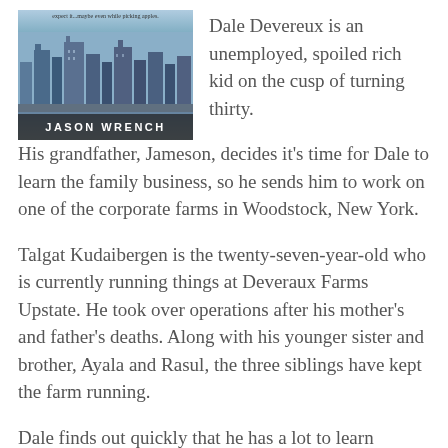[Figure (illustration): Book cover showing a city skyline with tall buildings against a blue sky. Author name 'JASON WRENCH' appears in white text on a dark banner at the bottom. Small text at top reads 'expect it...maybe even while picking apples.']
Dale Devereux is an unemployed, spoiled rich kid on the cusp of turning thirty. His grandfather, Jameson, decides it's time for Dale to learn the family business, so he sends him to work on one of the corporate farms in Woodstock, New York.
Talgat Kudaibergen is the twenty-seven-year-old who is currently running things at Deveraux Farms Upstate. He took over operations after his mother's and father's deaths. Along with his younger sister and brother, Ayala and Rasul, the three siblings have kept the farm running.
Dale finds out quickly that he has a lot to learn